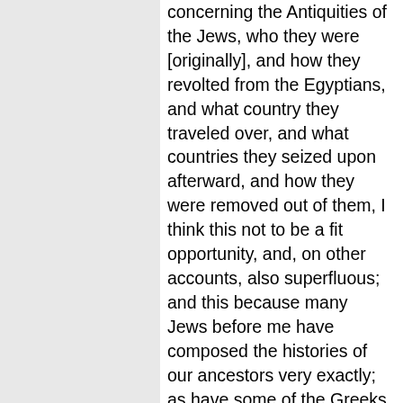concerning the Antiquities of the Jews, who they were [originally], and how they revolted from the Egyptians, and what country they traveled over, and what countries they seized upon afterward, and how they were removed out of them, I think this not to be a fit opportunity, and, on other accounts, also superfluous; and this because many Jews before me have composed the histories of our ancestors very exactly; as have some of the Greeks done it also, and have translated our histories into their own tongue, and have not much mistaken the truth in their histories. But then, where the writers of these affairs and our prophets leave off, thence shall I take my rise, and begin my history. Now as to what concerns that war which